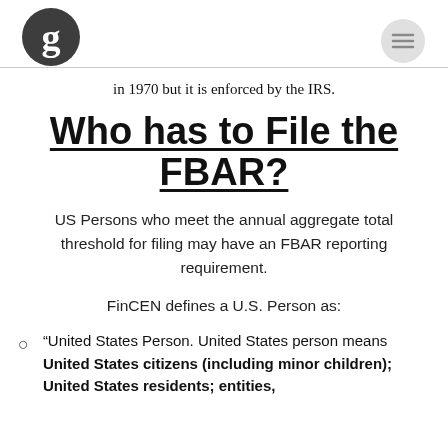[Guardian logo and menu button]
in 1970 but it is enforced by the IRS.
Who has to File the FBAR?
US Persons who meet the annual aggregate total threshold for filing may have an FBAR reporting requirement.
FinCEN defines a U.S. Person as:
“United States Person. United States person means United States citizens (including minor children); United States residents; entities,